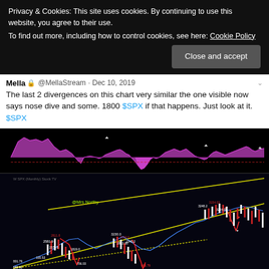Privacy & Cookies: This site uses cookies. By continuing to use this website, you agree to their use.
To find out more, including how to control cookies, see here: Cookie Policy
Close and accept
Mella 🔒 @MellaStream · Dec 10, 2019
The last 2 divergences on this chart very similar the one visible now says nose dive and some. 1800 $SPX if that happens. Just look at it. $SPX
[Figure (screenshot): Stock chart screenshot showing SPX price chart with yellow channel lines and red/white candlesticks on black background, with an oscillator panel on top showing pink/magenta waveform. The chart is attributed to @Mrs Northy and shows long-term SPX data with divergence patterns marked. Two prior divergence periods are visible alongside the current one near Dec 2019.]